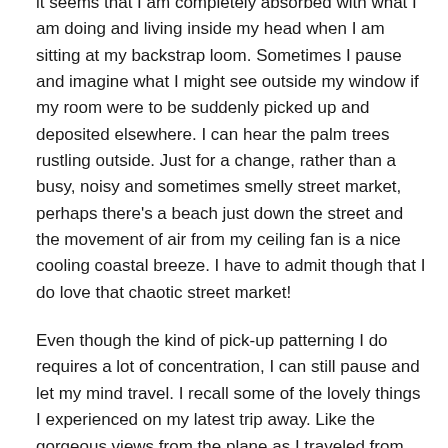it seems that I am completely absorbed with what I am doing and living inside my head when I am sitting at my backstrap loom. Sometimes I pause and imagine what I might see outside my window if my room were to be suddenly picked up and deposited elsewhere. I can hear the palm trees rustling outside. Just for a change, rather than a busy, noisy and sometimes smelly street market, perhaps there's a beach just down the street and the movement of air from my ceiling fan is a nice cooling coastal breeze. I have to admit though that I do love that chaotic street market!
Even though the kind of pick-up patterning I do requires a lot of concentration, I can still pause and let my mind travel. I recall some of the lovely things I experienced on my latest trip away. Like the gorgeous views from the plane as I traveled from place to place…